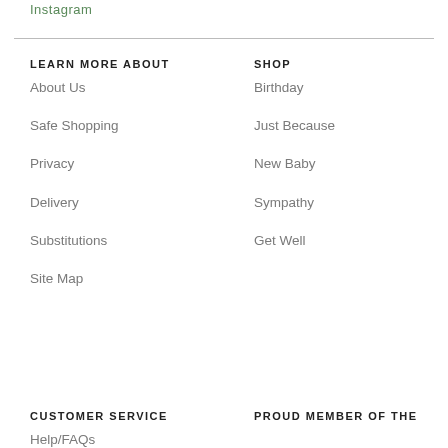Instagram
LEARN MORE ABOUT
About Us
Safe Shopping
Privacy
Delivery
Substitutions
Site Map
SHOP
Birthday
Just Because
New Baby
Sympathy
Get Well
CUSTOMER SERVICE
Help/FAQs
PROUD MEMBER OF THE